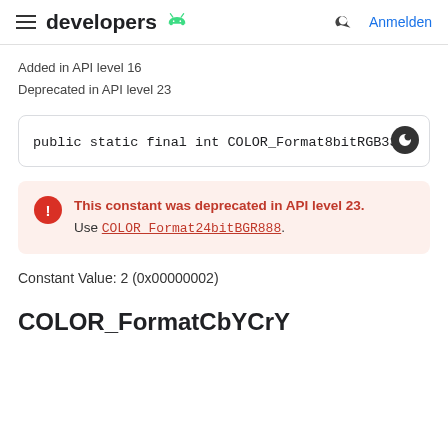developers  Anmelden
Added in API level 16
Deprecated in API level 23
public static final int COLOR_Format8bitRGB332
This constant was deprecated in API level 23. Use COLOR_Format24bitBGR888.
Constant Value: 2 (0x00000002)
COLOR_FormatCbYCrY